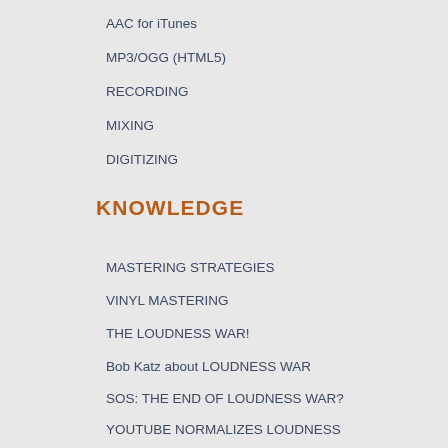AAC for iTunes
MP3/OGG (HTML5)
RECORDING
MIXING
DIGITIZING
KNOWLEDGE
MASTERING STRATEGIES
VINYL MASTERING
THE LOUDNESS WAR!
Bob Katz about LOUDNESS WAR
SOS: THE END OF LOUDNESS WAR?
YOUTUBE NORMALIZES LOUDNESS
ISRC, UPC ...